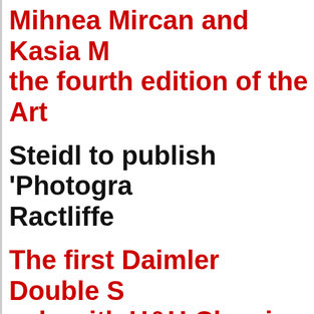Mihnea Mircan and Kasia ... the fourth edition of the Art...
Steidl to publish 'Photogra... Ractliffe
The first Daimler Double S... sale with H&H Classics
Six Seuss books bore a bia...
Exhibition showcases the t... photographers